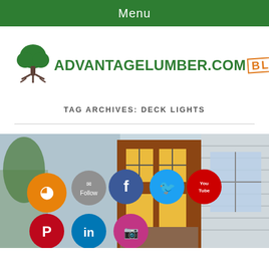Menu
[Figure (logo): AdvantageLumber.com Blog logo with green tree icon and orange BLOG stamp text]
TAG ARCHIVES: DECK LIGHTS
[Figure (photo): House exterior photo with social media icons overlay including RSS, email follow, Facebook, Twitter, YouTube, Pinterest, LinkedIn, Instagram]